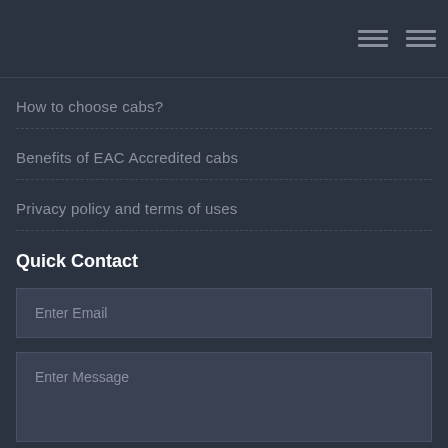Navigation menu header with hamburger icons
How to choose cabs?
Benefits of EAC Accredited cabs
Privacy policy and terms of uses
Quick Contact
Enter Email
Enter Message